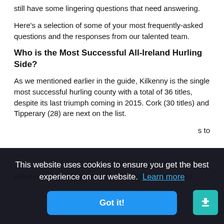still have some lingering questions that need answering.
Here's a selection of some of your most frequently-asked questions and the responses from our talented team.
Who is the Most Successful All-Ireland Hurling Side?
As we mentioned earlier in the guide, Kilkenny is the single most successful hurling county with a total of 36 titles, despite its last triumph coming in 2015. Cork (30 titles) and Tipperary (28) are next on the list.
…s to
Kilkenny's legendary Henry Shefflin has won the most
This website uses cookies to ensure you get the best experience on our website. Learn more
Got it!